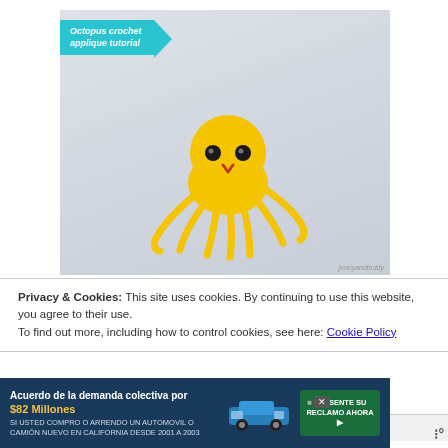[Figure (photo): A crocheted yellow octopus applique on a light grey/blue background. The octopus has a round yellow body with black button eyes and a small red/orange V-shaped mouth, and eight yellow tentacles. A teal banner in the top-left reads 'Octopus crochet applique tutorial'. Watermark 'jennyandteddy' in bottom right.]
Privacy & Cookies: This site uses cookies. By continuing to use this website, you agree to their use.
To find out more, including how to control cookies, see here: Cookie Policy
Close and accept
[Figure (infographic): Advertisement banner: 'Acuerdo de la demanda colectiva por $82 Millones. SI USTED COMPRO O ARRENDO UN AUTOMOVIL O CAMION NUEVO EN CALIFORNIA DESDE 2001 A 2003'. Shows a blue car image and a green button 'PRESENTE SU RECLAMO AHORA'.]